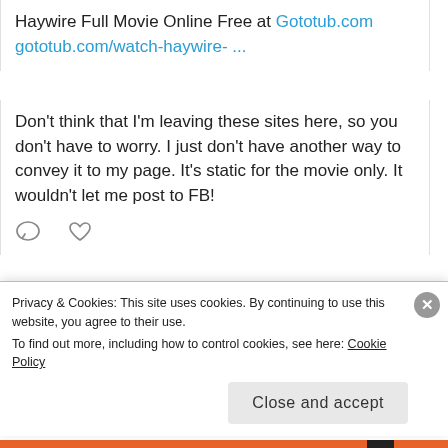Haywire Full Movie Online Free at Gototub.com gototub.com/watch-haywire- ...
Don't think that I'm leaving these sites here, so you don't have to worry. I just don't have another way to convey it to my page. It's static for the movie only. It wouldn't let me post to FB!
Patricia
Privacy & Cookies: This site uses cookies. By continuing to use this website, you agree to their use.
To find out more, including how to control cookies, see here: Cookie Policy
Close and accept